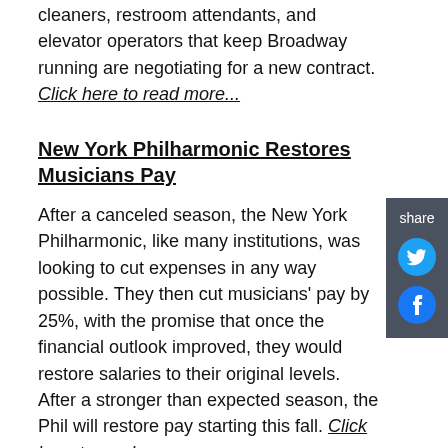cleaners, restroom attendants, and elevator operators that keep Broadway running are negotiating for a new contract. Click here to read more...
New York Philharmonic Restores Musicians Pay
After a canceled season, the New York Philharmonic, like many institutions, was looking to cut expenses in any way possible. They then cut musicians' pay by 25%, with the promise that once the financial outlook improved, they would restore salaries to their original levels. After a stronger than expected season, the Phil will restore pay starting this fall. Click here to read more...
BAM Expanded Their Audience During the Pandemic
In the most recent season, 48% of BAM ticket buyers were first time - compared to 31% in previous years. Leadership credits the wide variety of programming, ensuring the Brooklyn Academy of Music isn't just for one audience, was the key to their success. Click here to read